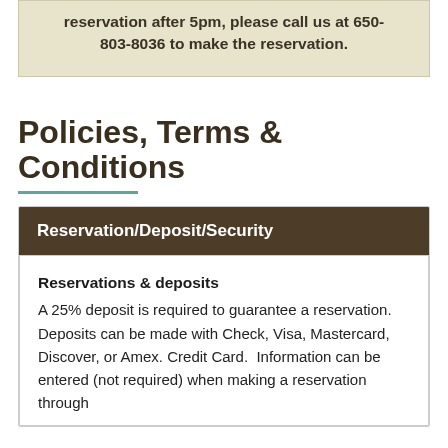reservation after 5pm, please call us at 650-803-8036 to make the reservation.
Policies, Terms & Conditions
Reservation/Deposit/Security
Reservations & deposits
A 25% deposit is required to guarantee a reservation. Deposits can be made with Check, Visa, Mastercard, Discover, or Amex. Credit Card.  Information can be entered (not required) when making a reservation through